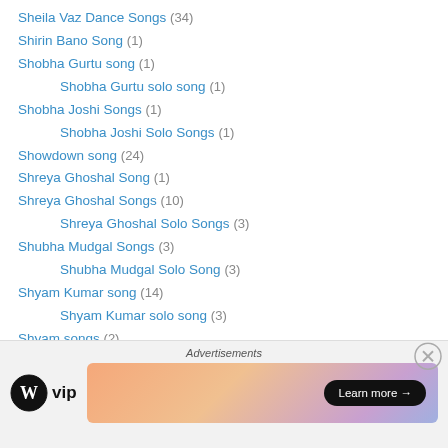Sheila Vaz Dance Songs (34)
Shirin Bano Song (1)
Shobha Gurtu song (1)
Shobha Gurtu solo song (1)
Shobha Joshi Songs (1)
Shobha Joshi Solo Songs (1)
Showdown song (24)
Shreya Ghoshal Song (1)
Shreya Ghoshal Songs (10)
Shreya Ghoshal Solo Songs (3)
Shubha Mudgal Songs (3)
Shubha Mudgal Solo Song (3)
Shyam Kumar song (14)
Shyam Kumar solo song (3)
Shyam songs (2)
Shyam Sundar (Sr) Songs' (3)
Advertisements